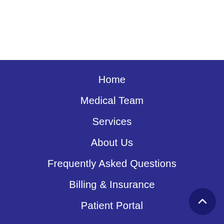Home
Medical Team
Services
About Us
Frequently Asked Questions
Billing & Insurance
Patient Portal